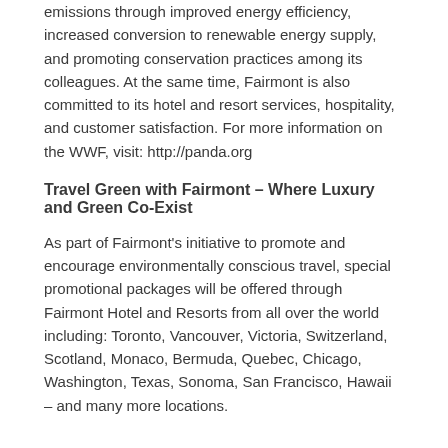emissions through improved energy efficiency, increased conversion to renewable energy supply, and promoting conservation practices among its colleagues. At the same time, Fairmont is also committed to its hotel and resort services, hospitality, and customer satisfaction. For more information on the WWF, visit: http://panda.org
Travel Green with Fairmont – Where Luxury and Green Co-Exist
As part of Fairmont's initiative to promote and encourage environmentally conscious travel, special promotional packages will be offered through Fairmont Hotel and Resorts from all over the world including: Toronto, Vancouver, Victoria, Switzerland, Scotland, Monaco, Bermuda, Quebec, Chicago, Washington, Texas, Sonoma, San Francisco, Hawaii – and many more locations.